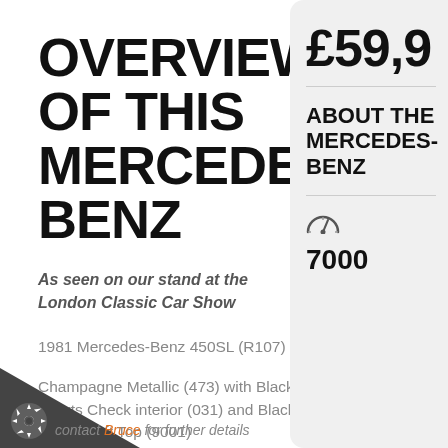OVERVIEW OF THIS MERCEDES-BENZ
As seen on our stand at the London Classic Car Show
1981 Mercedes-Benz 450SL (R107)
Champagne Metallic (473) with Black Sports Check interior (031) and Black Fabric Soft Top (9001)
7 000 miles
contact Bruce for further details
£59,9
ABOUT THE MERCEDES-BENZ
7000